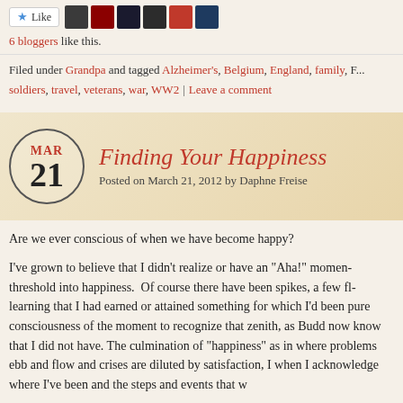[Figure (other): Like button with star icon and row of blogger avatar thumbnails]
6 bloggers like this.
Filed under Grandpa and tagged Alzheimer's, Belgium, England, family, F... soldiers, travel, veterans, war, WW2 | Leave a comment
Finding Your Happiness
Posted on March 21, 2012 by Daphne Freise
Are we ever conscious of when we have become happy?
I've grown to believe that I didn't realize or have an "Aha!" momen... threshold into happiness. Of course there have been spikes, a few fl... learning that I had earned or attained something for which I'd been... pure consciousness of the moment to recognize that zenith, as Budd... now know that I did not have. The culmination of "happiness" as in... where problems ebb and flow and crises are diluted by satisfaction, I... when I acknowledge where I've been and the steps and events that w...
The Christmas that came shortly after my eighth birthday brought a... used and favored possessions as a child; a globe. About that same tim... Britannica set and housed it in my bedroom in a bookcase made by m... of use into these two items as a child normally puts miles on a bicycl...